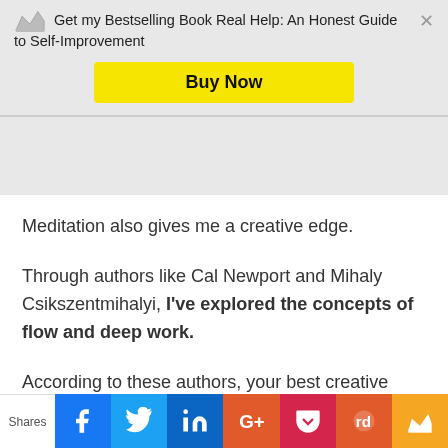Get my Bestselling Book Real Help: An Honest Guide to Self-Improvement [Buy Now button]
Meditation also gives me a creative edge.
Through authors like Cal Newport and Mihaly Csikszentmihalyi, I've explored the concepts of flow and deep work.
According to these authors, your best creative work comes from a state of
Shares | Facebook | Twitter | LinkedIn | Google+ | Pocket | Reddit | Crown